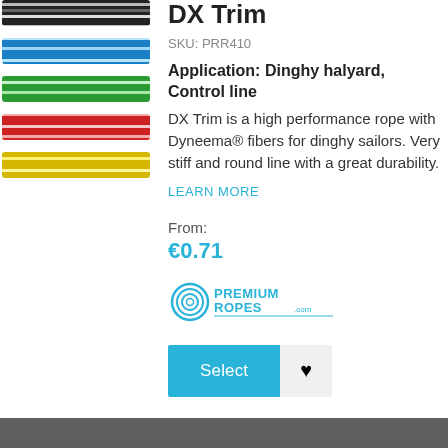[Figure (illustration): Five horizontal rope swatches showing different color variants: black/white, blue/white, green/white, red/white, yellow/white braided rope patterns]
DX Trim
SKU: PRR410
Application: Dinghy halyard, Control line
DX Trim is a high performance rope with Dyneema® fibers for dinghy sailors. Very stiff and round line with a great durability.
LEARN MORE
From:
€0.71
[Figure (logo): PremiumRopes.com logo with spiral icon]
Select